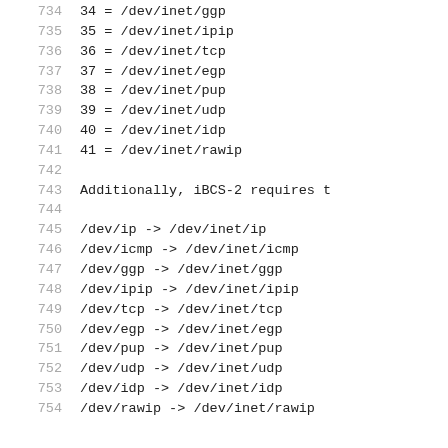734   34 = /dev/inet/ggp
735   35 = /dev/inet/ipip
736   36 = /dev/inet/tcp
737   37 = /dev/inet/egp
738   38 = /dev/inet/pup
739   39 = /dev/inet/udp
740   40 = /dev/inet/idp
741   41 = /dev/inet/rawip
742
743   Additionally, iBCS-2 requires t
744
745   /dev/ip -> /dev/inet/ip
746   /dev/icmp -> /dev/inet/icmp
747   /dev/ggp -> /dev/inet/ggp
748   /dev/ipip -> /dev/inet/ipip
749   /dev/tcp -> /dev/inet/tcp
750   /dev/egp -> /dev/inet/egp
751   /dev/pup -> /dev/inet/pup
752   /dev/udp -> /dev/inet/udp
753   /dev/idp -> /dev/inet/idp
754   /dev/rawip -> /dev/inet/rawip